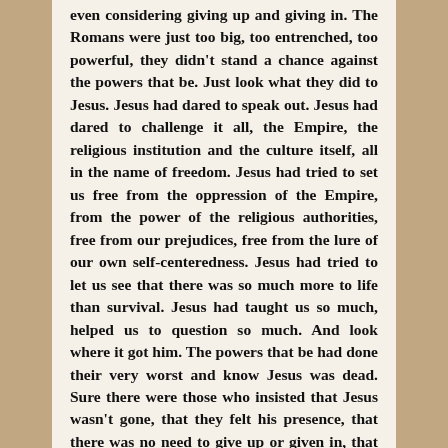even considering giving up and giving in. The Romans were just too big, too entrenched, too powerful, they didn't stand a chance against the powers that be. Just look what they did to Jesus. Jesus had dared to speak out. Jesus had dared to challenge it all, the Empire, the religious institution and the culture itself, all in the name of freedom. Jesus had tried to set us free from the oppression of the Empire, from the power of the religious authorities, free from our prejudices, free from the lure of our own self-centeredness. Jesus had tried to let us see that there was so much more to life than survival. Jesus had taught us so much, helped us to question so much. And look where it got him. The powers that be had done their very worst and know Jesus was dead. Sure there were those who insisted that Jesus wasn't gone, that they felt his presence, that there was no need to give up or given in, that we could still change the world. But, what to do? How do we go on? And then it was as if we were on fire! Suddenly we were alive with all that Jesus had taught us. You should have been there as the flames of